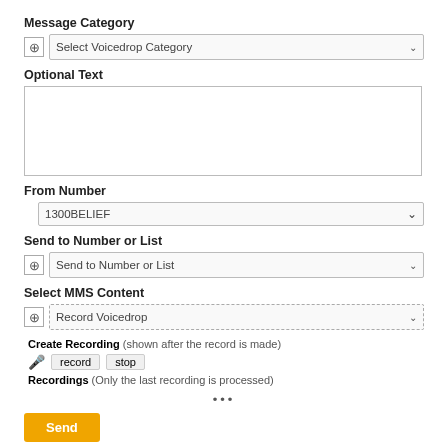[Figure (screenshot): MMS Send Panel UI form showing fields: Message Category (Select Voicedrop Category dropdown), Optional Text (textarea), From Number (1300BELIEF dropdown), Send to Number or List dropdown, Select MMS Content (Record Voicedrop dropdown), Create Recording with mic icon and record/stop buttons, Recordings label, ellipsis, and Send button.]
Pictured: The MMS Send Panel showing the option to record directly into the system. Options exist for a